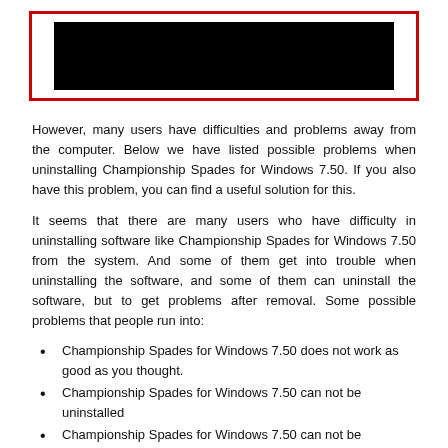[Figure (screenshot): A screenshot or image with a red border frame containing a black rectangle, likely a video or application screenshot.]
However, many users have difficulties and problems away from the computer. Below we have listed possible problems when uninstalling Championship Spades for Windows 7.50. If you also have this problem, you can find a useful solution for this.
It seems that there are many users who have difficulty in uninstalling software like Championship Spades for Windows 7.50 from the system. And some of them get into trouble when uninstalling the software, and some of them can uninstall the software, but to get problems after removal. Some possible problems that people run into:
Championship Spades for Windows 7.50 does not work as good as you thought.
Championship Spades for Windows 7.50 can not be uninstalled
Championship Spades for Windows 7.50 can not be completely uninstall and removed
Championship Spades for Windows 7.50 or other similar software can not be installed or updated again on the computer
The computer system runs much slower after Championship Spades for Windows 7.50 is uninstalled